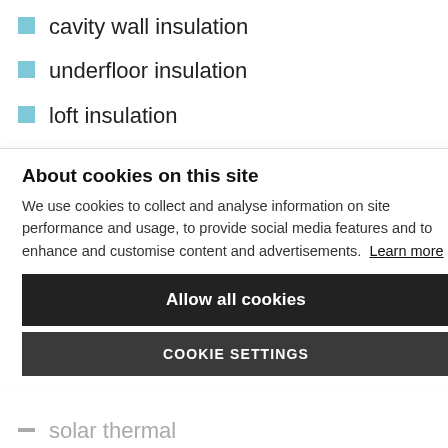cavity wall insulation
underfloor insulation
loft insulation
(partially visible list item)
About cookies on this site
We use cookies to collect and analyse information on site performance and usage, to provide social media features and to enhance and customise content and advertisements. Learn more
Allow all cookies
COOKIE SETTINGS
solar thermal